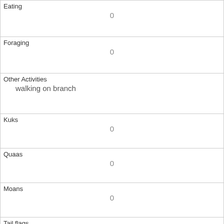| Field | Value |
| --- | --- |
| Eating | 0 |
| Foraging | 0 |
| Other Activities | walking on branch |
| Kuks | 0 |
| Quaas | 0 |
| Moans | 0 |
| Tail flags | 0 |
| Tail twitches | 1 |
| Approaches | 0 |
| Indifferent | 0 |
| Runs from |  |